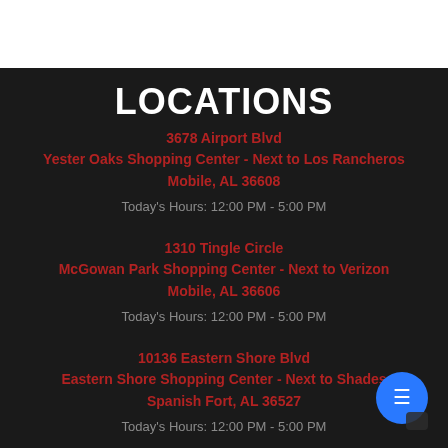LOCATIONS
3678 Airport Blvd
Yester Oaks Shopping Center - Next to Los Rancheros
Mobile, AL 36608
Today's Hours: 12:00 PM - 5:00 PM
1310 Tingle Circle
McGowan Park Shopping Center - Next to Verizon
Mobile, AL 36606
Today's Hours: 12:00 PM - 5:00 PM
10136 Eastern Shore Blvd
Eastern Shore Shopping Center - Next to Shades
Spanish Fort, AL 36527
Today's Hours: 12:00 PM - 5:00 PM